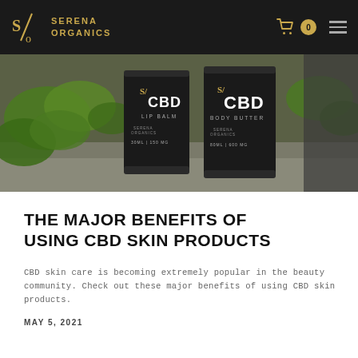SERENA ORGANICS
[Figure (photo): Two dark cylindrical containers of Serena Organics CBD products (CBD Lip Balm 30ml 150mg and CBD Body Butter 80ml 600mg) on a stone surface with green ivy leaves in the background.]
THE MAJOR BENEFITS OF USING CBD SKIN PRODUCTS
CBD skin care is becoming extremely popular in the beauty community. Check out these major benefits of using CBD skin products.
MAY 5, 2021